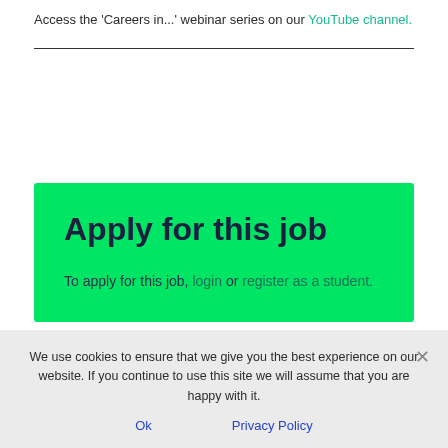Access the 'Careers in...' webinar series on our YouTube channel.
Apply for this job
To apply for this job, login or register as a student.
We use cookies to ensure that we give you the best experience on our website. If you continue to use this site we will assume that you are happy with it.
Ok
Privacy Policy